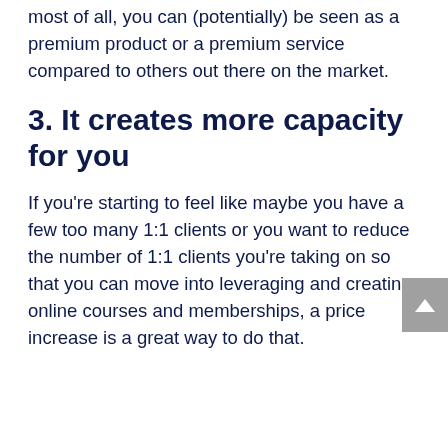most of all, you can (potentially) be seen as a premium product or a premium service compared to others out there on the market.
3. It creates more capacity for you
If you're starting to feel like maybe you have a few too many 1:1 clients or you want to reduce the number of 1:1 clients you're taking on so that you can move into leveraging and creating online courses and memberships, a price increase is a great way to do that.